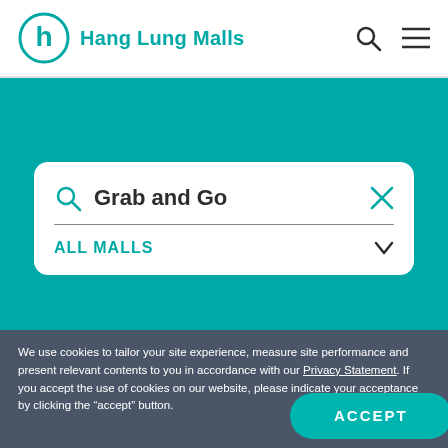Hang Lung Malls
Grab and Go
ALL MALLS
62 RESULTS FOR 'Grab and Go'
We use cookies to tailor your site experience, measure site performance and present relevant contents to you in accordance with our Privacy Statement. If you accept the use of cookies on our website, please indicate your acceptance by clicking the “accept” button.
SHOPPING
ACCEPT